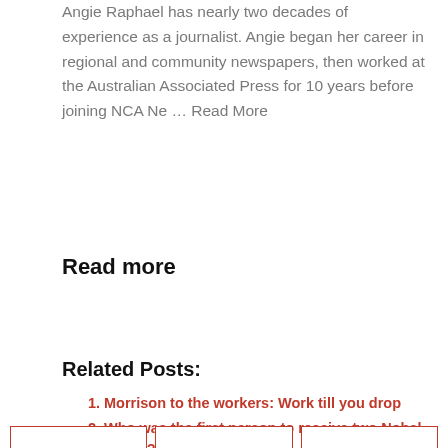Angie Raphael has nearly two decades of experience as a journalist. Angie began her career in regional and community newspapers, then worked at the Australian Associated Press for 10 years before joining NCA Ne … Read More
Read more
Related Posts:
Morrison to the workers: Work till you drop
Who was the first person to receive two Nobel Prizes?
Aussie father's space dream takes one step closer as Richard Branson soars into space – Travel Weekly
Delta expands deeper into Victoria area, upsets AFL